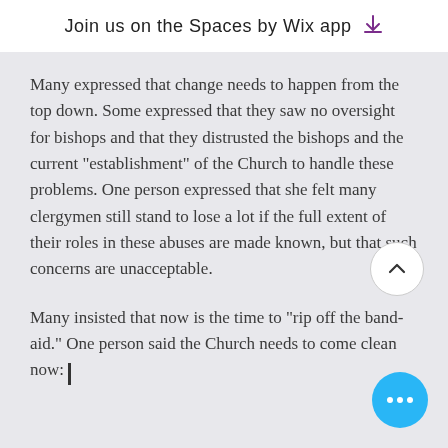Join us on the Spaces by Wix app
Many expressed that change needs to happen from the top down. Some expressed that they saw no oversight for bishops and that they distrusted the bishops and the current "establishment" of the Church to handle these problems. One person expressed that she felt many clergymen still stand to lose a lot if the full extent of their roles in these abuses are made known, but that such concerns are unacceptable.
Many insisted that now is the time to "rip off the band-aid." One person said the Church needs to come clean now: